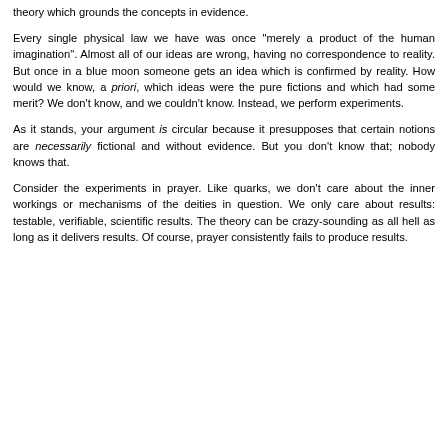theory which grounds the concepts in evidence.
Every single physical law we have was once "merely a product of the human imagination". Almost all of our ideas are wrong, having no correspondence to reality. But once in a blue moon someone gets an idea which is confirmed by reality. How would we know, a priori, which ideas were the pure fictions and which had some merit? We don't know, and we couldn't know. Instead, we perform experiments.
As it stands, your argument is circular because it presupposes that certain notions are necessarily fictional and without evidence. But you don't know that; nobody knows that.
Consider the experiments in prayer. Like quarks, we don't care about the inner workings or mechanisms of the deities in question. We only care about results: testable, verifiable, scientific results. The theory can be crazy-sounding as all hell as long as it delivers results. Of course, prayer consistently fails to produce results.